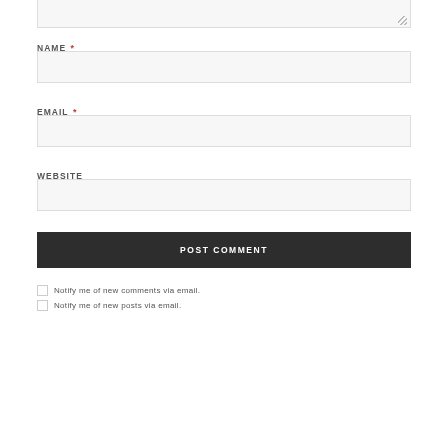[textarea top visible portion]
NAME *
[name input field]
EMAIL *
[email input field]
WEBSITE
[website input field]
POST COMMENT
Notify me of new comments via email.
Notify me of new posts via email.